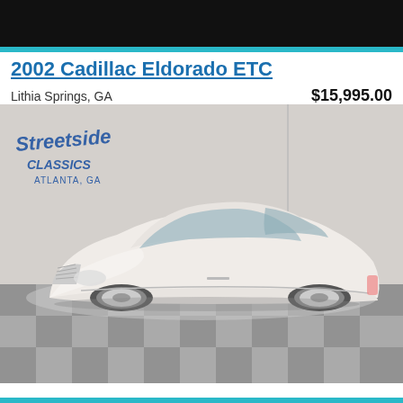2002 Cadillac Eldorado ETC
Lithia Springs, GA
$15,995.00
[Figure (photo): White 2002 Cadillac Eldorado ETC coupe photographed in a showroom with checkered floor tiles. The car is white with chrome multi-spoke wheels. A Streetside Classics Atlanta, GA logo/watermark is visible in the upper left of the photo.]